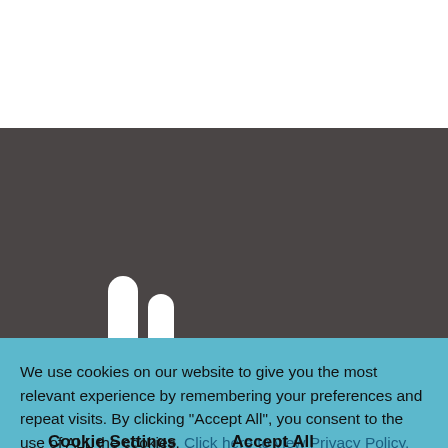[Figure (illustration): Dark grey banner with two white rounded pill/capsule shapes at the bottom left and text 'Hospital' in white bold on the right side, representing a hospital website header]
We use cookies on our website to give you the most relevant experience by remembering your preferences and repeat visits. By clicking “Accept All”, you consent to the use of ALL the cookies. Click here to view Privacy Policy. However, you may visit "Cookie Settings" to provide a controlled consent.
Cookie Settings
Accept All